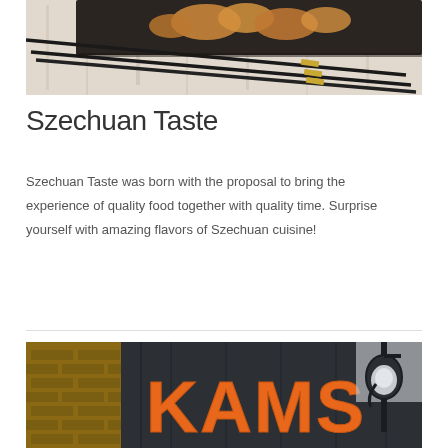[Figure (photo): Close-up photo of black chopsticks with gold bands resting on a dark tray with food, on a white wooden surface]
Szechuan Taste
Szechuan Taste was born with the proposal to bring the experience of quality food together with quality time. Surprise yourself with amazing flavors of Szechuan cuisine!
[Figure (photo): Exterior photo of KAMS restaurant with large orange letters on a dark building facade, with a street lamp visible]